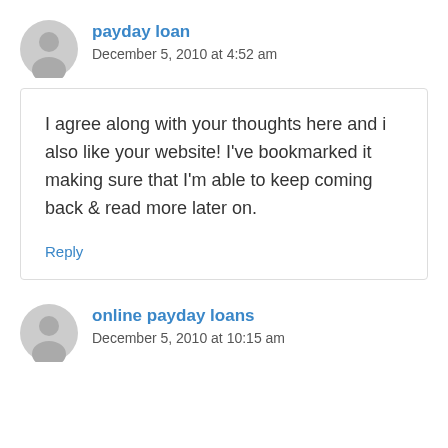payday loan
December 5, 2010 at 4:52 am
I agree along with your thoughts here and i also like your website! I've bookmarked it making sure that I'm able to keep coming back & read more later on.
Reply
online payday loans
December 5, 2010 at 10:15 am